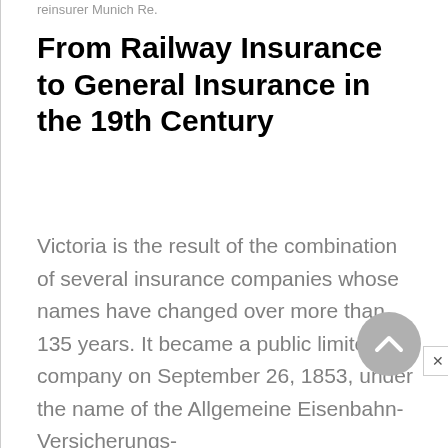reinsurer Munich Re.
From Railway Insurance to General Insurance in the 19th Century
Victoria is the result of the combination of several insurance companies whose names have changed over more than 135 years. It became a public limited company on September 26, 1853, under the name of the Allgemeine Eisenbahn-Versicherungs-Gesellschaft (the General Railway